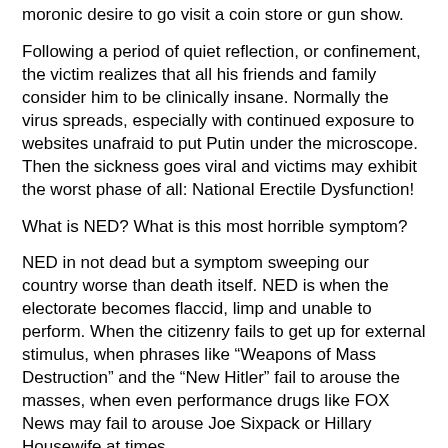moronic desire to go visit a coin store or gun show.
Following a period of quiet reflection, or confinement, the victim realizes that all his friends and family consider him to be clinically insane. Normally the virus spreads, especially with continued exposure to websites unafraid to put Putin under the microscope. Then the sickness goes viral and victims may exhibit the worst phase of all: National Erectile Dysfunction!
What is NED? What is this most horrible symptom?
NED in not dead but a symptom sweeping our country worse than death itself. NED is when the electorate becomes flaccid, limp and unable to perform. When the citizenry fails to get up for external stimulus, when phrases like “Weapons of Mass Destruction” and the “New Hitler” fail to arouse the masses, when even performance drugs like FOX News may fail to arouse Joe Sixpack or Hillary Housewife at times.
Pocket rocket scientists at NASA say that NED indicates the fatal phase where President Putin of Russia becomes more Believable, Brave & Trustworthy to the victim, more believable than the beloved American President, more believable than the ethical US intelligence agencies and